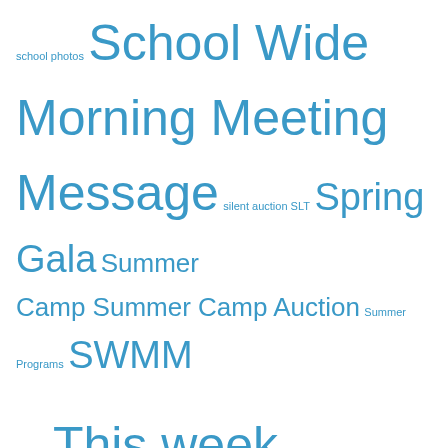school photos School Wide Morning Meeting Message silent auction SLT Spring Gala Summer Camp Summer Camp Auction Summer Programs SWMM testing This week UFT United Federation of Teachers weekly Winter Break Winter Jubilee
Follow Us
[Figure (illustration): Social media icons: Facebook (blue), Twitter (blue), RSS (orange)]
View Full Site
Proudly powered by WordPress